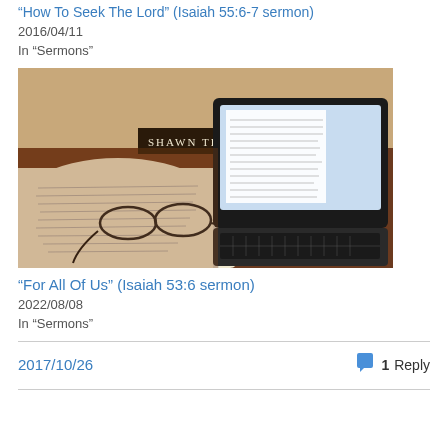“How To Seek The Lord” (Isaiah 55:6-7 sermon)
2016/04/11
In “Sermons”
[Figure (photo): A photo of an open Bible with reading glasses resting on it, alongside a laptop/tablet with keyboard on a wooden desk. A nameplate reading 'SHAWN THOMA' is visible in the background.]
“For All Of Us” (Isaiah 53:6 sermon)
2022/08/08
In “Sermons”
2017/10/26
1 Reply